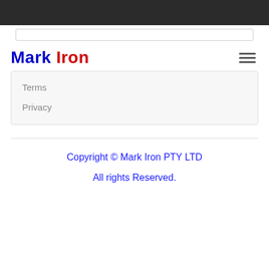Mark Iron
Terms
Privacy
Copyright © Mark Iron PTY LTD
All rights Reserved.